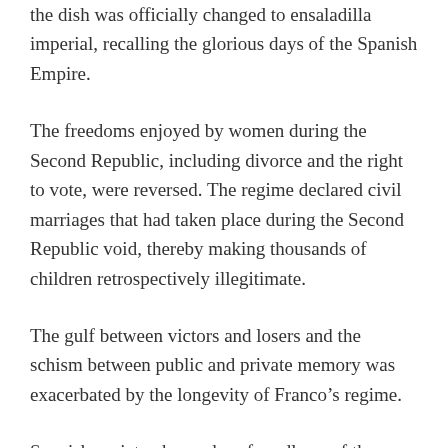the dish was officially changed to ensaladilla imperial, recalling the glorious days of the Spanish Empire.
The freedoms enjoyed by women during the Second Republic, including divorce and the right to vote, were reversed. The regime declared civil marriages that had taken place during the Second Republic void, thereby making thousands of children retrospectively illegitimate.
The gulf between victors and losers and the schism between public and private memory was exacerbated by the longevity of Franco’s regime.
Spanish society changed profoundly as of the 1960s as a result of very strong economic growth, the influx of tourists, industrialisation and urbanisation, but the regime’s Civil War discourse remained unchanged.